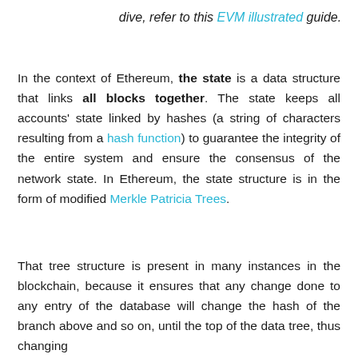dive, refer to this EVM illustrated guide.
In the context of Ethereum, the state is a data structure that links all blocks together. The state keeps all accounts' state linked by hashes (a string of characters resulting from a hash function) to guarantee the integrity of the entire system and ensure the consensus of the network state. In Ethereum, the state structure is in the form of modified Merkle Patricia Trees.
That tree structure is present in many instances in the blockchain, because it ensures that any change done to any entry of the database will change the hash of the branch above and so on, until the top of the data tree, thus changing